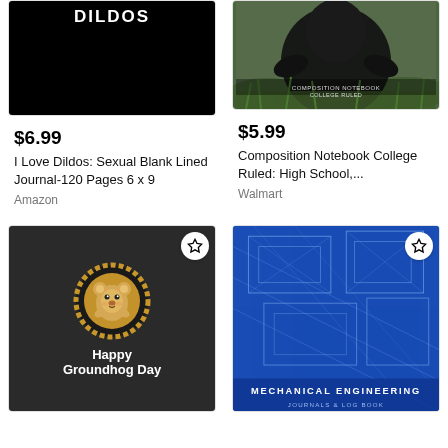[Figure (photo): Black book cover with 'DILDOS' text in white bold letters]
$6.99
I Love Dildos: Sexual Blank Lined Journal-120 Pages 6 x 9
Amazon
[Figure (photo): Photo of a gorilla sitting in green grass, with 'Composition Notebook College Ruled' text overlay]
$5.99
Composition Notebook College Ruled: High School,...
Walmart
[Figure (illustration): Dark background with groundhog mascot in golden medallion, text 'Happy Groundhog Day' in white bold]
[Figure (illustration): Blue blueprint-style cover for Mechanical Engineering Journals & Log Book with star wishlist icon]